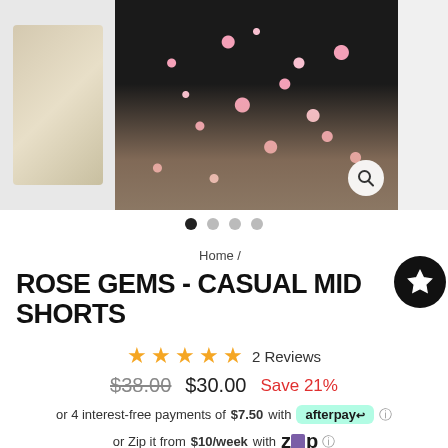[Figure (photo): Product photo of Rose Gems - Casual Mid Shorts, a black and pink floral print cycling short, shown on a model. Two panel view with a close-up center image and a partial left image.]
● ○ ○ ○
Home /
ROSE GEMS - CASUAL MID SHORTS
★★★★★ 2 Reviews
$38.00  $30.00  Save 21%
or 4 interest-free payments of $7.50 with afterpay ℹ
or Zip it from $10/week with Zip ℹ